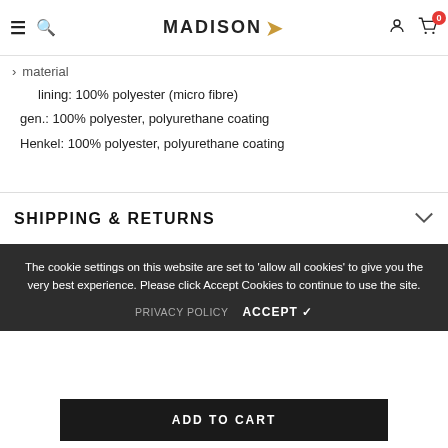MADISON [navigation bar with hamburger, search, user, and cart icons]
Material
lining: 100% polyester (micro fibre)
gen.: 100% polyester, polyurethane coating
Henkel: 100% polyester, polyurethane coating
SHIPPING & RETURNS
RELATED PRODUCTS
The cookie settings on this website are set to 'allow all cookies' to give you the very best experience. Please click Accept Cookies to continue to use the site.
PRIVACY POLICY    ACCEPT ✓
ADD TO CART